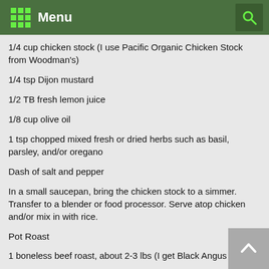Menu
1/4 cup chicken stock (I use Pacific Organic Chicken Stock from Woodman's)
1/4 tsp Dijon mustard
1/2 TB fresh lemon juice
1/8 cup olive oil
1 tsp chopped mixed fresh or dried herbs such as basil, parsley, and/or oregano
Dash of salt and pepper
In a small saucepan, bring the chicken stock to a simmer. Transfer to a blender or food processor. Serve atop chicken and/or mix in with rice.
Pot Roast
1 boneless beef roast, about 2-3 lbs (I get Black Angus Eye